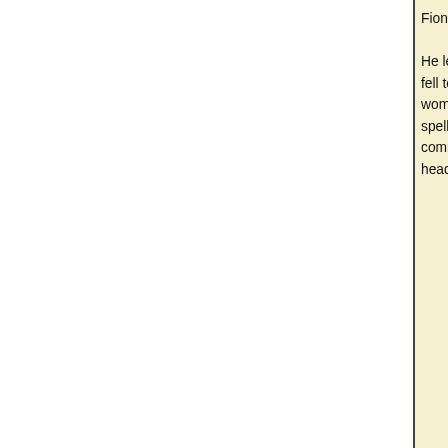Fionn, he said, "remember, son, how long s[he had been under a] He leapt like a lion. He put his sword up to th[e woman. She] fell to the ground, "Oh, I'm the daughter of th[e king of...] woman who ever shed a tear were it not for [the] spell for years (?). It was foretold to him," sh[e said, "oh] commander, that I would have a son the wh[o... on his] head and crown."
Fonótaí
1. = chun an. (Back)
2. = bhfuil. Cf. Dónall Ó Baoill, An teanga bh[eo...]
3. Leg. cuimnigh? Cf. E.C. Quiggin, A dialec[t of Donegal...]
4. = séimhe. Cf. séimhidh (= séimh) in Patric[k Dinneen...] 1927; athchló 1996) s.v. séimheach. Cf. Dón[all Ó Baoill] 1996), 85. (Back)
Tráchtaireacht
Seo leagan próis de laoi Fiannaíochta, ach [...]  ann ná an dara cuid de scéal, agus tá an ch[...]